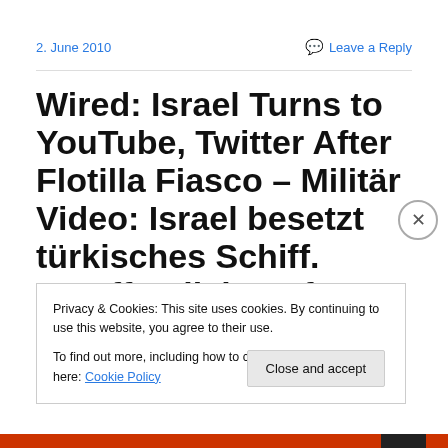2. June 2010
Leave a Reply
Wired: Israel Turns to YouTube, Twitter After Flotilla Fiasco – Militär Video: Israel besetzt türkisches Schiff. Veröffentlicht auf Youtube.
Privacy & Cookies: This site uses cookies. By continuing to use this website, you agree to their use.
To find out more, including how to control cookies, see here: Cookie Policy